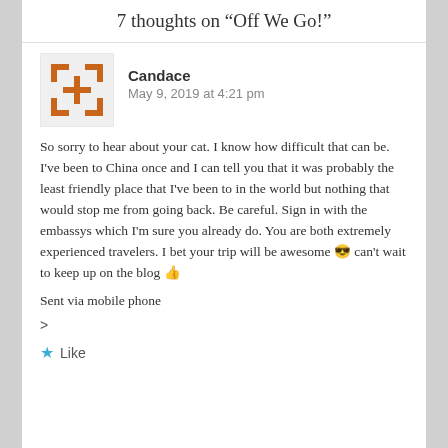7 thoughts on “Off We Go!”
[Figure (logo): Orange geometric avatar icon with bracket-like shapes forming a stylized face on white/grey background]
Candace
May 9, 2019 at 4:21 pm
So sorry to hear about your cat. I know how difficult that can be. I've been to China once and I can tell you that it was probably the least friendly place that I've been to in the world but nothing that would stop me from going back. Be careful. Sign in with the embassys which I'm sure you already do. You are both extremely experienced travelers. I bet your trip will be awesome 😎 can't wait to keep up on the blog 👍
Sent via mobile phone
>
★ Like